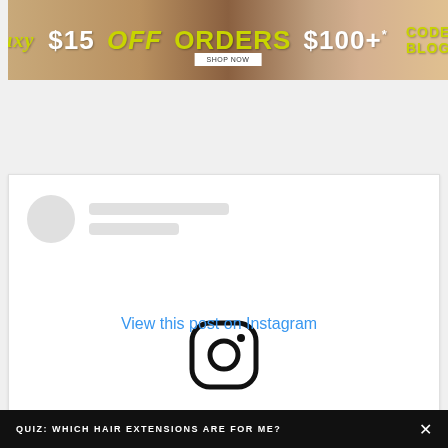[Figure (infographic): Promotional banner ad for a hair brand offering $15 OFF ORDERS $100+ with CODE: BLOG15, featuring women with curly hair in the background]
[Figure (screenshot): An embedded Instagram post placeholder showing a profile skeleton (avatar circle and gray lines), the Instagram logo icon, and a 'View this post on Instagram' link, with a circular question mark help button in the bottom right corner]
View this post on Instagram
QUIZ: WHICH HAIR EXTENSIONS ARE FOR ME?